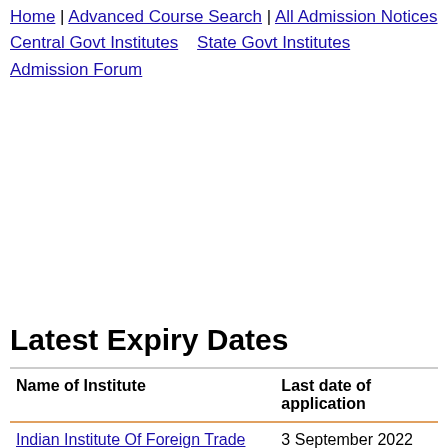Home | Advanced Course Search | All Admission Notices | Central Govt Institutes | State Govt Institutes | Admission Forum
Latest Expiry Dates
| Name of Institute | Last date of application |
| --- | --- |
| Indian Institute Of Foreign Trade | 3 September 2022 |